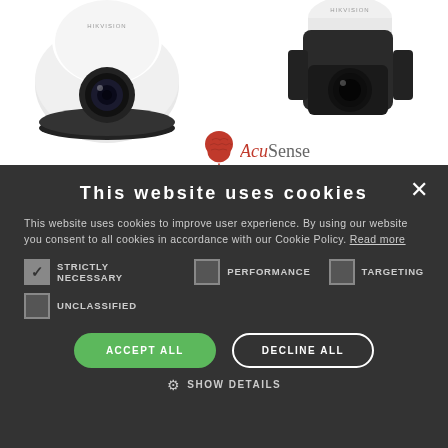[Figure (photo): Two Hikvision PTZ security cameras on white background. Left: dome-style camera in white/black. Right: bullet-style PTZ camera in dark gray/black.]
[Figure (logo): AcuSense logo with red brain/leaf icon and text 'AcuSense' in gray serif font]
This website uses cookies
This website uses cookies to improve user experience. By using our website you consent to all cookies in accordance with our Cookie Policy. Read more
STRICTLY NECESSARY (checked), PERFORMANCE (unchecked), TARGETING (unchecked)
UNCLASSIFIED (unchecked)
ACCEPT ALL | DECLINE ALL
SHOW DETAILS